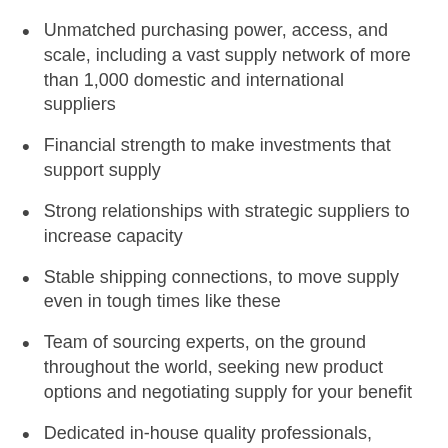Unmatched purchasing power, access, and scale, including a vast supply network of more than 1,000 domestic and international suppliers
Financial strength to make investments that support supply
Strong relationships with strategic suppliers to increase capacity
Stable shipping connections, to move supply even in tough times like these
Team of sourcing experts, on the ground throughout the world, seeking new product options and negotiating supply for your benefit
Dedicated in-house quality professionals, preventing issues and assuring standards
Expert supply and demand forecasting to help you